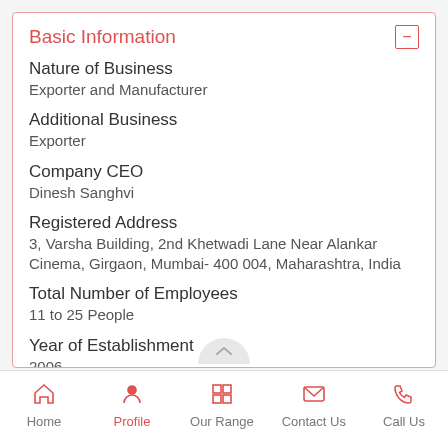Basic Information
Nature of Business
Exporter and Manufacturer
Additional Business
Exporter
Company CEO
Dinesh Sanghvi
Registered Address
3, Varsha Building, 2nd Khetwadi Lane Near Alankar Cinema, Girgaon, Mumbai- 400 004, Maharashtra, India
Total Number of Employees
11 to 25 People
Year of Establishment
2006
Legal Status of Firm
Home | Profile | Our Range | Contact Us | Call Us